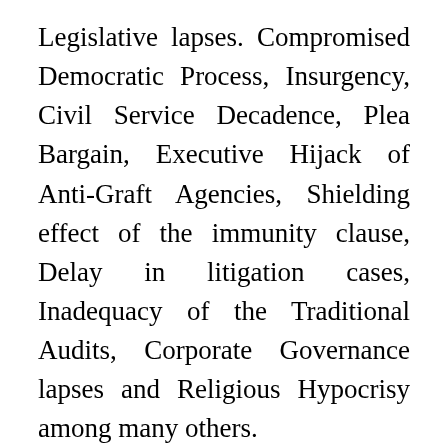Legislative lapses. Compromised Democratic Process, Insurgency, Civil Service Decadence, Plea Bargain, Executive Hijack of Anti-Graft Agencies, Shielding effect of the immunity clause, Delay in litigation cases, Inadequacy of the Traditional Audits, Corporate Governance lapses and Religious Hypocrisy among many others.
He opined that with good Governance, fraud and corruption will be minimized drastically. He urged orgnisations to employ forensic